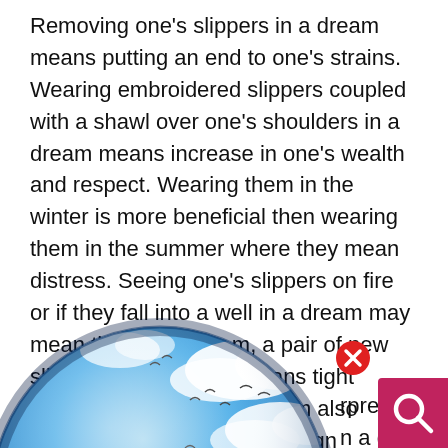Removing one's slippers in a dream means putting an end to one's strains. Wearing embroidered slippers coupled with a shawl over one's shoulders in a dream means increase in one's wealth and respect. Wearing them in the winter is more beneficial then wearing them in the summer where they mean distress. Seeing one's slippers on fire or if they fall into a well in a dream may mean the death ... m, a pair of new sli ... e a boat means tight ... opers in a dream also ... ned from a foreign ... export business.
[Figure (illustration): Globe with clouds and blue sky background, with 'Dream Encyclopedia' logo overlay. A red close (X) button appears at top right of the globe. A pink/red search magnifier button appears at bottom right of the page.]
... interpreted to mean ... in a dream could mean ... re interpreted to mean ... ing them in a dream means relie...